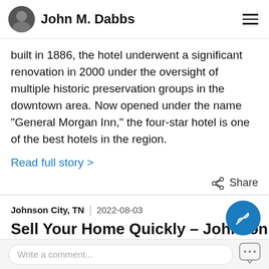John M. Dabbs
built in 1886, the hotel underwent a significant renovation in 2000 under the oversight of multiple historic preservation groups in the downtown area. Now opened under the name "General Morgan Inn," the four-star hotel is one of the best hotels in the region.
Read full story >
Share
Johnson City, TN | 2022-08-03
Sell Your Home Quickly – Johnson C…
Write a comment...